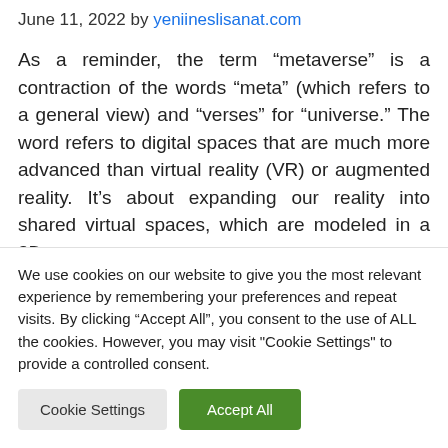June 11, 2022 by yeniineslisanat.com
As a reminder, the term “metaverse” is a contraction of the words “meta” (which refers to a general view) and “verses” for “universe.” The word refers to digital spaces that are much more advanced than virtual reality (VR) or augmented reality. It’s about expanding our reality into shared virtual spaces, which are modeled in a 3D
We use cookies on our website to give you the most relevant experience by remembering your preferences and repeat visits. By clicking “Accept All”, you consent to the use of ALL the cookies. However, you may visit "Cookie Settings" to provide a controlled consent.
Cookie Settings | Accept All